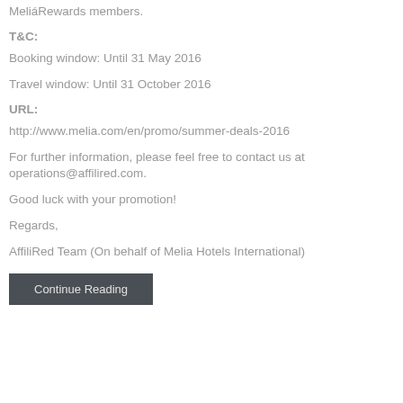MeliáRewards members.
T&C:
Booking window: Until 31 May 2016
Travel window: Until 31 October 2016
URL:
http://www.melia.com/en/promo/summer-deals-2016
For further information, please feel free to contact us at operations@affilired.com.
Good luck with your promotion!
Regards,
AffiliRed Team (On behalf of Melia Hotels International)
Continue Reading